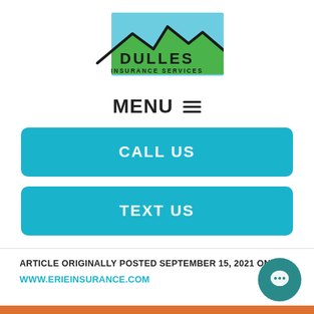[Figure (logo): Dulles Insurance Services logo with mountain silhouette on blue/green background]
MENU ≡
CALL US
TEXT US
ARTICLE ORIGINALLY POSTED SEPTEMBER 15, 2021 ON
WWW.ERIEINSURANCE.COM